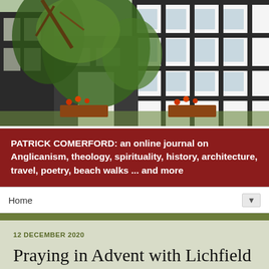[Figure (photo): Photo of a traditional black-and-white Tudor-style building with lush green trees and flowering plants in front]
PATRICK COMERFORD: an online journal on Anglicanism, theology, spirituality, history, architecture, travel, poetry, beach walks ... and more
Home
12 DECEMBER 2020
Praying in Advent with Lichfield Cathedral: 14, Saturday 12 December 2020